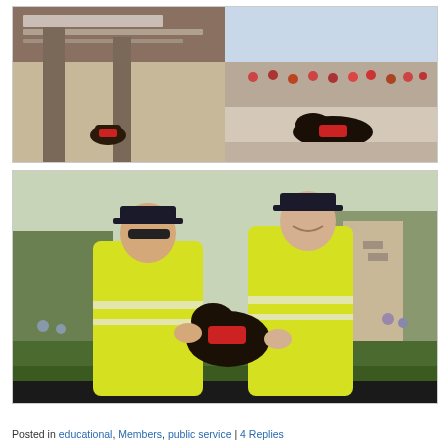[Figure (photo): Two-panel photo showing a black dog with a red service vest near a memorial wall (left panel) and the same dog resting on stone pavement with a crowd in the background (right panel).]
[Figure (photo): Photo of two police officers in hi-vis yellow jackets crouching down with a small black dog wearing a red vest, outdoors in a park setting with trees and buildings in the background.]
Posted in educational, Members, public service | 4 Replies